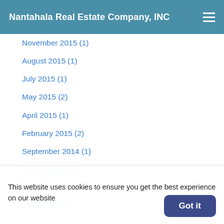Nantahala Real Estate Company, INC
November 2015 (1)
August 2015 (1)
July 2015 (1)
May 2015 (2)
April 2015 (1)
February 2015 (2)
September 2014 (1)
August 2014 (3)
May 2014 (1)
March 2014 (1)
January 2014 (1)
May 2013 (1)
April 2013 (4)
This website uses cookies to ensure you get the best experience on our website